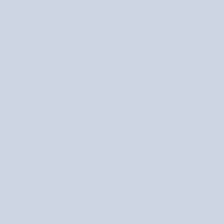presentation technique in correct sequence:
I. Demonstration
II. Explanation
III. Practice and Supervision
IV. Feedback
Find the correct combination
(A) II III IV I
(B) I II